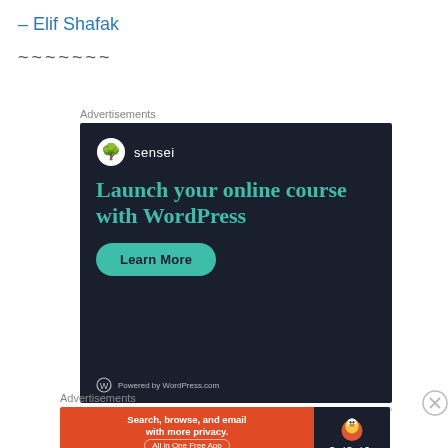– Elif Shafak
~~~~~~~
Advertisements
[Figure (screenshot): Sensei advertisement banner: dark background with Sensei logo, headline 'Launch your online course with WordPress', green 'Learn More' button, 'Powered by WordPress.com' footer]
REPORT THIS AD
Advertisements
[Figure (screenshot): DuckDuckGo advertisement banner: orange left section with text 'Search, browse, and email with more privacy. All in One Free App', dark right section with DuckDuckGo duck logo and DuckDuckGo name]